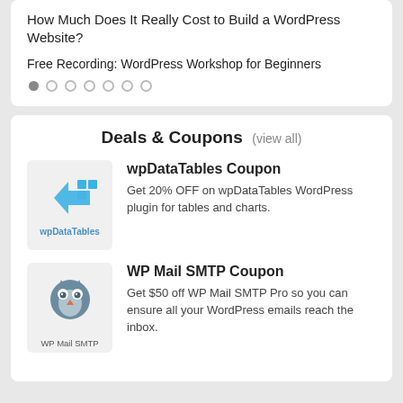How Much Does It Really Cost to Build a WordPress Website?
Free Recording: WordPress Workshop for Beginners
Deals & Coupons (view all)
wpDataTables Coupon
Get 20% OFF on wpDataTables WordPress plugin for tables and charts.
WP Mail SMTP Coupon
Get $50 off WP Mail SMTP Pro so you can ensure all your WordPress emails reach the inbox.